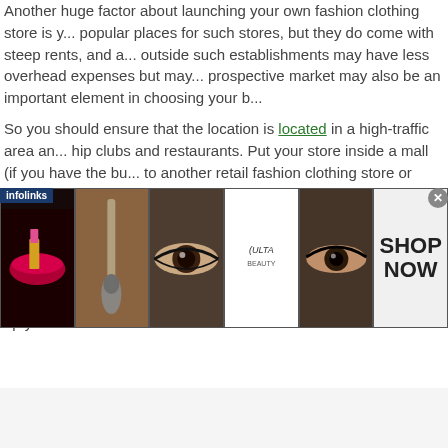Another huge factor about launching your own fashion clothing store is y... popular places for such stores, but they do come with steep rents, and a... outside such establishments may have less overhead expenses but may... prospective market may also be an important element in choosing your b...
So you should ensure that the location is located in a high-traffic area an... hip clubs and restaurants. Put your store inside a mall (if you have the bu... to another retail fashion clothing store or fashion clothing boutique. Othe... veteran fashion clothing store owners.
In order to assess competitiveness and presence, you would need to per... look at the demographics in the location you plan to put up your fashion c...
[Figure (photo): Infolinks advertisement banner showing beauty/makeup imagery and ULTA Beauty logo with SHOP NOW call to action]